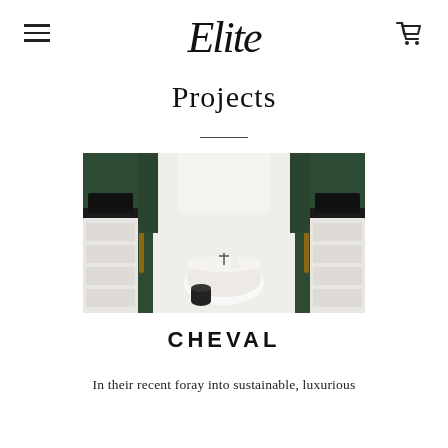Elite (logo with hamburger menu and cart icon)
Projects
[Figure (photo): Luxury bathroom interior with deep green velvet panels flanking a freestanding white bathtub, white cabinetry with brass handles, dark countertops, and a small black accent stool on white flooring]
CHEVAL
In their recent foray into sustainable, luxurious